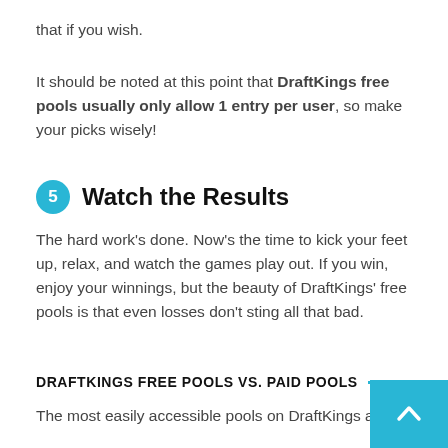that if you wish.
It should be noted at this point that DraftKings free pools usually only allow 1 entry per user, so make your picks wisely!
5 Watch the Results
The hard work's done. Now's the time to kick your feet up, relax, and watch the games play out. If you win, enjoy your winnings, but the beauty of DraftKings' free pools is that even losses don't sting all that bad.
DRAFTKINGS FREE POOLS VS. PAID POOLS
The most easily accessible pools on DraftKings are, of